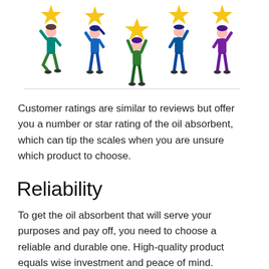[Figure (illustration): Five cartoon people holding large yellow stars above their heads, representing customer ratings. They stand in a row on a light grey baseline.]
Customer ratings are similar to reviews but offer you a number or star rating of the oil absorbent, which can tip the scales when you are unsure which product to choose.
Reliability
To get the oil absorbent that will serve your purposes and pay off, you need to choose a reliable and durable one. High-quality product equals wise investment and peace of mind.